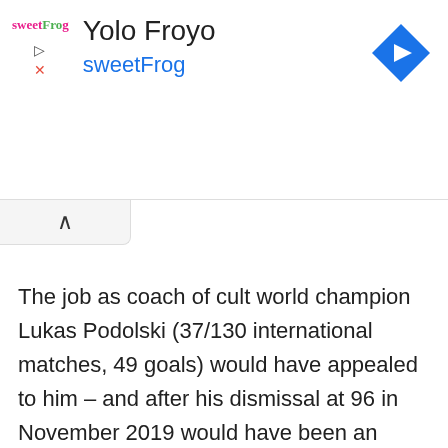[Figure (screenshot): Mobile app ad banner for sweetFrog 'Yolo Froyo' with logo, title, subtitle, and blue diamond navigation icon]
The job as coach of cult world champion Lukas Podolski (37/130 international matches, 49 goals) would have appealed to him – and after his dismissal at 96 in November 2019 would have been an opportunity to